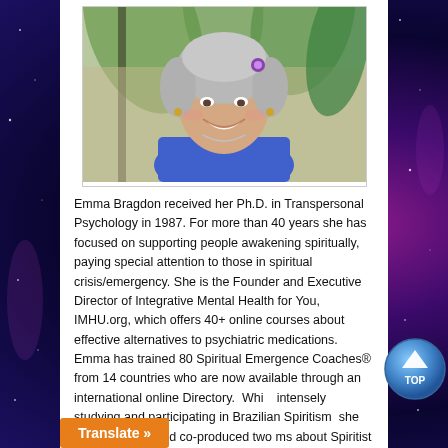[Figure (photo): Portrait photo of Emma Bragdon, a smiling older woman with short silver hair wearing a blue sleeveless top, with palm plants in background]
Emma Bragdon received her Ph.D. in Transpersonal Psychology in 1987. For more than 40 years she has focused on supporting people awakening spiritually, paying special attention to those in spiritual crisis/emergency. She is the Founder and Executive Director of Integrative Mental Health for You, IMHU.org, which offers 40+ online courses about effective alternatives to psychiatric medications. Emma has trained 80 Spiritual Emergence Coaches® from 14 countries who are now available through an international online Directory. While intensely studying and participating in Brazilian Spiritism, she wrote 3 books and co-produced two ms about Spiritist treatment of mental